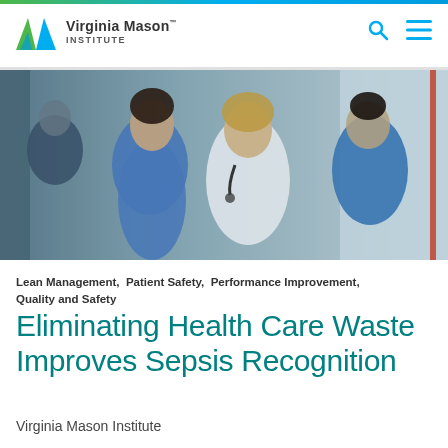Virginia Mason Institute
[Figure (photo): Three healthcare professionals in scrubs and a white coat with stethoscope having a discussion in a clinical hallway setting]
Lean Management, Patient Safety, Performance Improvement, Quality and Safety
Eliminating Health Care Waste Improves Sepsis Recognition
Virginia Mason Institute